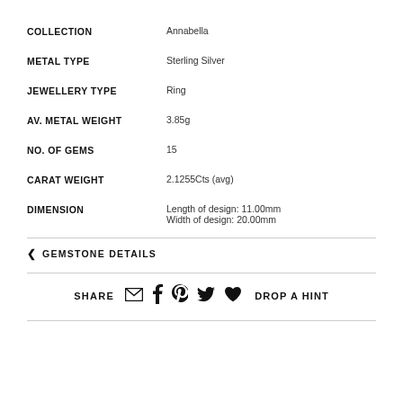| Attribute | Value |
| --- | --- |
| COLLECTION | Annabella |
| METAL TYPE | Sterling Silver |
| JEWELLERY TYPE | Ring |
| AV. METAL WEIGHT | 3.85g |
| NO. OF GEMS | 15 |
| CARAT WEIGHT | 2.1255Cts (avg) |
| DIMENSION | Length of design: 11.00mm
Width of design: 20.00mm |
GEMSTONE DETAILS
SHARE  DROP A HINT